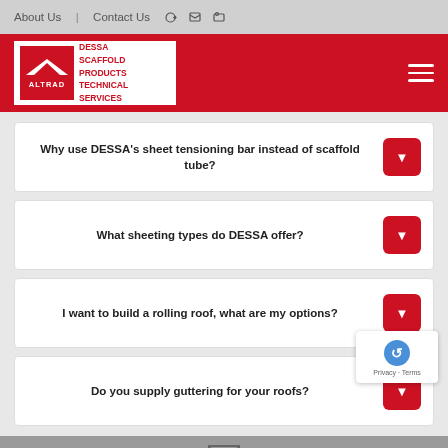About Us | Contact Us
[Figure (logo): ALTRAD DESSA Scaffold Products Technical Services logo on red header background with hamburger menu]
Why use DESSA's sheet tensioning bar instead of scaffold tube?
What sheeting types do DESSA offer?
I want to build a rolling roof, what are my options?
Do you supply guttering for your roofs?
[Figure (photo): Scaffold structure image in grey footer area]
[Figure (other): reCAPTCHA privacy badge — Privacy Terms]